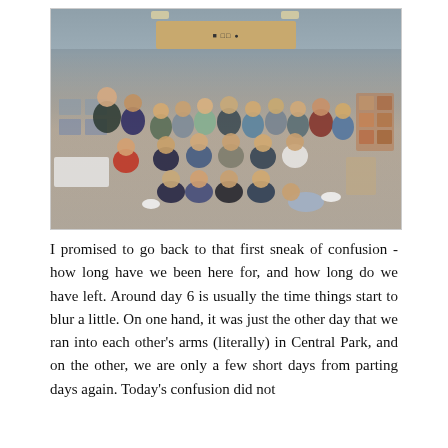[Figure (photo): Group photo of approximately 25 children and two adults posing together indoors in what appears to be a community center or school hall. Some people are standing, some seated, some lying on the floor in the foreground. A wooden panel sign is visible in the background, along with artwork on the walls.]
I promised to go back to that first sneak of confusion - how long have we been here for, and how long do we have left. Around day 6 is usually the time things start to blur a little. On one hand, it was just the other day that we ran into each other's arms (literally) in Central Park, and on the other, we are only a few short days from parting days again. Today's confusion did not